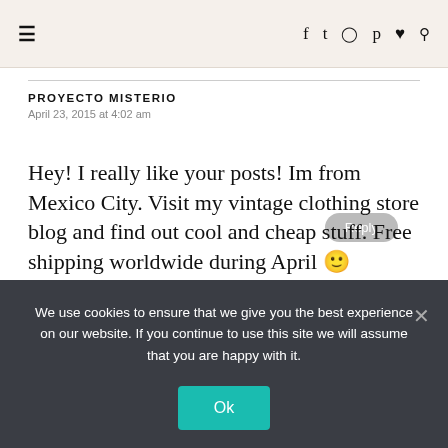≡  f  🐦  📷  𝗽  ♥  🔍
PROYECTO MISTERIO
April 23, 2015 at 4:02 am
Hey! I really like your posts! Im from Mexico City. Visit my vintage clothing store blog and find out cool and cheap stuff. Free shipping worldwide during April 🙂 http://proyectomisteriotienda.blogspot.mx/
Privacy & Cookies: This site uses cookies. By continuing to use this
We use cookies to ensure that we give you the best experience on our website. If you continue to use this site we will assume that you are happy with it.
Ok